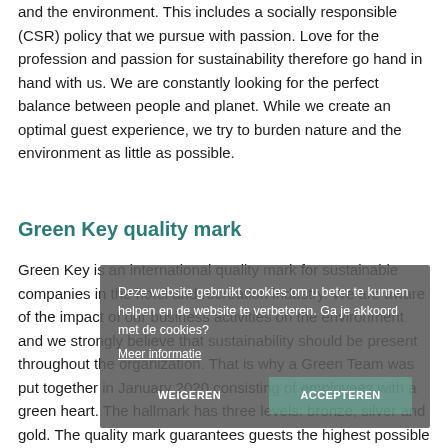and the environment. This includes a socially responsible (CSR) policy that we pursue with passion. Love for the profession and passion for sustainability therefore go hand in hand with us. We are constantly looking for the perfect balance between people and planet. While we create an optimal guest experience, we try to burden nature and the environment as little as possible.
Green Key quality mark
Green Key is an international quality mark for sustainable companies in the hotel and recreation industry. We are aware of the impact of our business activities on the environment and we strongly believe that sustainability should be present throughout the organization. That is why a Green Team was put together in January 2020 consisting of employees with a green heart. The hallmark has three levels: bronze, silver and gold. The quality mark guarantees guests the highest possible form of a